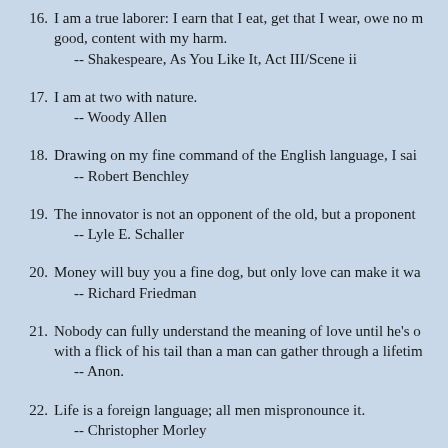16. I am a true laborer: I earn that I eat, get that I wear, owe no man hate, envy no man's happiness, glad of other men's good, content with my harm.
-- Shakespeare, As You Like It, Act III/Scene ii
17. I am at two with nature.
-- Woody Allen
18. Drawing on my fine command of the English language, I said nothing.
-- Robert Benchley
19. The innovator is not an opponent of the old, but a proponent of the new.
-- Lyle E. Schaller
20. Money will buy you a fine dog, but only love can make it wag its tail.
-- Richard Friedman
21. Nobody can fully understand the meaning of love until he's owned a dog. A dog can show you more honest affection with a flick of his tail than a man can gather through a lifetime of handshakes.
-- Anon.
22. Life is a foreign language; all men mispronounce it.
-- Christopher Morley
23. Creativity is allowing yourself to make mistakes. Art is knowing which ones to keep.
-- Scott Adams